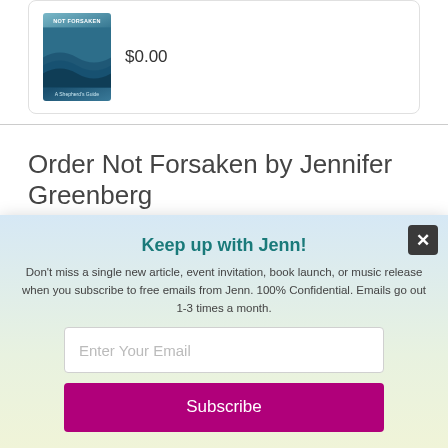[Figure (illustration): Book cover for 'Not Forsaken: A Shepherd's Guide' with blue/teal wave imagery]
$0.00
Order Not Forsaken by Jennifer Greenberg
Keep up with Jenn!
Don't miss a single new article, event invitation, book launch, or music release when you subscribe to free emails from Jenn. 100% Confidential. Emails go out 1-3 times a month.
Enter Your Email
Subscribe